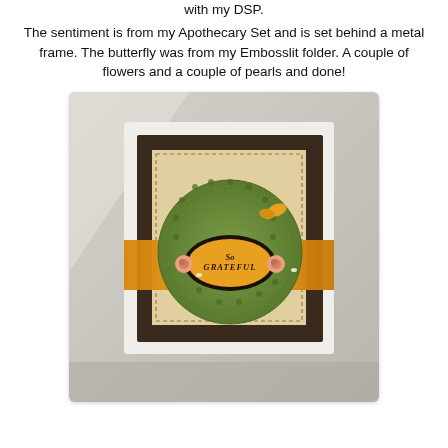with my DSP.
The sentiment is from my Apothecary Set and is set behind a metal frame. The butterfly was from my Embosslit folder. A couple of flowers and a couple of pearls and done!
[Figure (photo): Handmade greeting card displayed on a stand. The card features a dark brown background layer, a cream/kraft inner layer with dashed border, an orange/burlap horizontal band, a green doily-style circular element, a dark oval metal frame with 'So Grateful' text in orange, a yellow butterfly embellishment, and two pink rose flowers with pearls.]